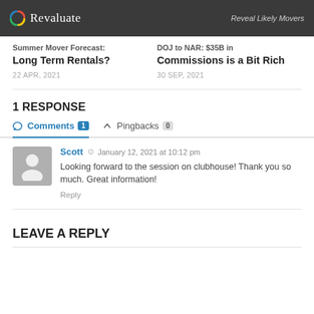Revaluate — Reveal Likely Movers
Summer Mover Forecast: Long Term Rentals?
22 APR, 2021
DOJ to NAR: $35B in Commissions is a Bit Rich
30 SEP, 2021
1 RESPONSE
Comments 1   Pingbacks 0
Scott  January 12, 2021 at 10:12 pm
Looking forward to the session on clubhouse! Thank you so much. Great information!
Reply
LEAVE A REPLY